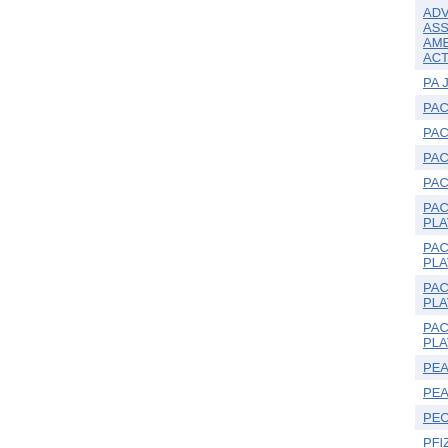| Name | Date | Amount |  |
| --- | --- | --- | --- |
| ADVERTISING ASSOCIATION OF AMERICA POLITICAL ACTION COMMITTEE | 10/12/2012 | 1000.00 |  |
| PA JOBS PAC | 10/23/2012 | 5000.00 |  |
| PAC FOR A CHANGE | 09/18/2000 | 5000.00 |  |
| PAC FOR A CHANGE | 08/01/2006 | 5000.00 |  |
| PAC FOR A CHANGE | 08/10/2010 | 5000.00 |  |
| PAC FOR A CHANGE | 10/07/2016 | 5000.00 | 201 |
| PAC FOR A LEVEL PLAYING FIELD | 12/22/2015 | 5000.00 | 201 |
| PAC FOR A LEVEL PLAYING FIELD | 08/30/2016 | 5000.00 | 201 |
| PAC FOR A LEVEL PLAYING FIELD | 11/30/2016 | -5000.00 | 201 |
| PAC FOR A LEVEL PLAYING FIELD | 12/26/2017 | 5000.00 | 201 |
| PEAK PAC | 12/18/2009 | 2000.00 |  |
| PEAK PAC | 10/15/2012 | 2500.00 |  |
| PEOPLE'S VOICE PAC | 11/02/2018 | 5000.00 | 201 |
| PFIZER INC. PAC | 11/05/2012 | 2500.00 |  |
| PHYSICIAN HOSPITALS OF AMERICA POLITICAL | 09/13/2009 | 2500.00 |  |